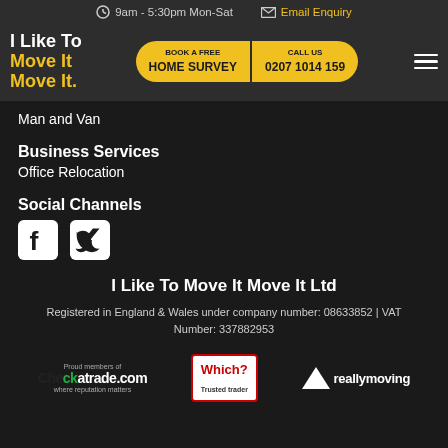9am - 5:30pm Mon-Sat   Email Enquiry
[Figure (logo): I Like To Move It Move It company logo and navigation bar with Book a Free Home Survey and Call Us 0207 1014 159 buttons]
Man and Van
Business Services
Office Relocation
Social Channels
[Figure (illustration): Facebook and Twitter social media icons in white squares]
I Like To Move It Move It Ltd
Registered in England & Wales under company number: 08633852 | VAT Number: 337882953
[Figure (logo): Three trust badges: Checkatrade.com - Proud members, Which? Trusted trader, reallymoving logos]